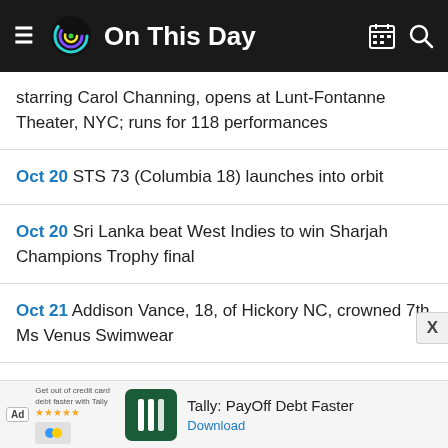On This Day
starring Carol Channing, opens at Lunt-Fontanne Theater, NYC; runs for 118 performances
Oct 20 STS 73 (Columbia 18) launches into orbit
Oct 20 Sri Lanka beat West Indies to win Sharjah Champions Trophy final
Oct 21 Addison Vance, 18, of Hickory NC, crowned 7th Ms Venus Swimwear
Oct 21 Mario Tremblay, selected 22nd NHL coach of Montreal Canadians
[Figure (screenshot): Advertisement banner for Tally: PayOff Debt Faster app with download link]